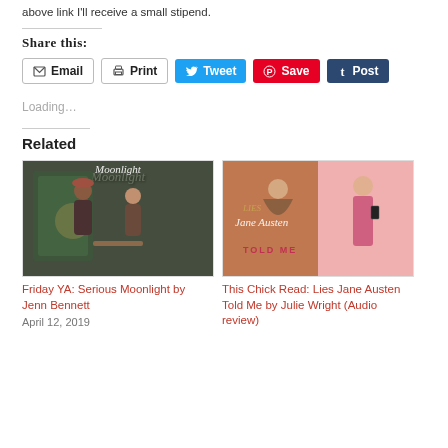above link I'll receive a small stipend.
Share this:
Email  Print  Tweet  Save  Post
Loading...
Related
[Figure (photo): Book cover for Serious Moonlight by Jenn Bennett]
Friday YA: Serious Moonlight by Jenn Bennett
April 12, 2019
[Figure (photo): Book cover for Lies Jane Austen Told Me by Julie Wright]
This Chick Read: Lies Jane Austen Told Me by Julie Wright (Audio review)